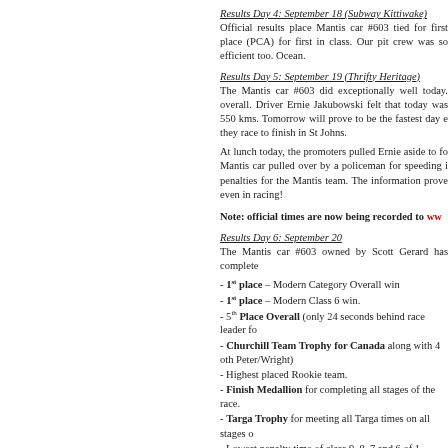Results Day 4: September 18 (Subway Kittiwake)
Official results place Mantis car #603 tied for first place (PCA) for first in class. Our pit crew was so efficient too. Ocean.
Results Day 5: September 19 (Thrifty Heritage)
The Mantis car #603 did exceptionally well today. overall. Driver Ernie Jakubowski felt that today was 550 kms. Tomorrow will prove to be the fastest day e they race to finish in St Johns.
At lunch today, the promoters pulled Ernie aside to fo Mantis car pulled over by a policeman for speeding i penalties for the Mantis team. The information prove even in racing!
Note: official times are now being recorded to ww
Results Day 6: September 20
The Mantis car #603 owned by Scott Gerard has complete
- 1st place – Modern Category Overall win
- 1st place – Modern Class 6 win.
- 5th Place Overall (only 24 seconds behind race leader fo
- Churchill Team Trophy for Canada along with 4 oth Peter/Wright)
- Highest placed Rookie team.
- Finish Medallion for completing all stages of the race.
- Targa Trophy for meeting all Targa times on all stages o
- Lowest penalty time of class 9, 8, 7 and 6 of 1-minute 2-
Not bad for the first try!
Driver Ernie Jakubowski and navigator, team manager D Stryjski all did an outstanding job this past week and sho Gerard is proud of his teams' accomplishments, however Great team work guys!